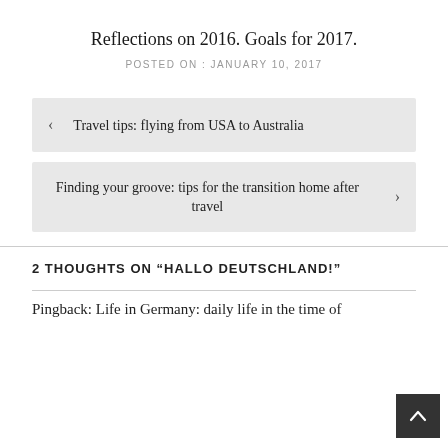Reflections on 2016. Goals for 2017.
POSTED ON : JANUARY 10, 2017
< Travel tips: flying from USA to Australia
Finding your groove: tips for the transition home after travel >
2 THOUGHTS ON “HALLO DEUTSCHLAND!”
Pingback: Life in Germany: daily life in the time of